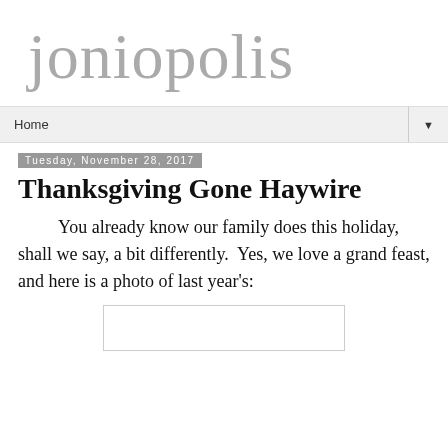joniopolis
Home
Tuesday, November 28, 2017
Thanksgiving Gone Haywire
You already know our family does this holiday, shall we say, a bit differently.  Yes, we love a grand feast, and here is a photo of last year's:
[Figure (photo): Partially visible photo placeholder at bottom of page]